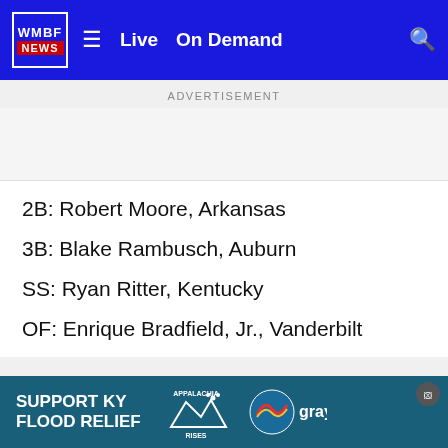WMBF NEWS | Live | On Demand
ADVERTISEMENT
2B: Robert Moore, Arkansas
3B: Blake Rambusch, Auburn
SS: Ryan Ritter, Kentucky
OF: Enrique Bradfield, Jr., Vanderbilt
ADVERTISEMENT
[Figure (infographic): Support KY Flood Relief advertisement banner with Appalachia Rises logo and Gray television logo]